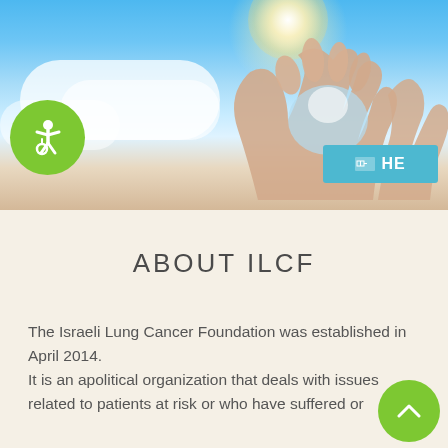[Figure (photo): Header banner showing hands forming a heart shape against a blue sky with clouds and bright sunlight, representing hope and care for lung cancer patients.]
ABOUT ILCF
The Israeli Lung Cancer Foundation was established in April 2014.
It is an apolitical organization that deals with issues related to patients at risk or who have suffered or